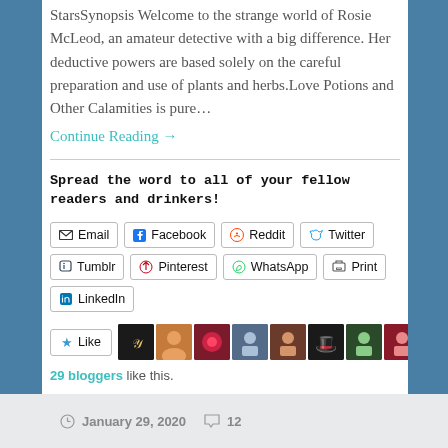StarsSynopsis Welcome to the strange world of Rosie McLeod, an amateur detective with a big difference. Her deductive powers are based solely on the careful preparation and use of plants and herbs.Love Potions and Other Calamities is pure…
Continue Reading →
Spread the word to all of your fellow readers and drinkers!
[Figure (infographic): Social sharing buttons: Email, Facebook, Reddit, Twitter, Tumblr, Pinterest, WhatsApp, Print, LinkedIn]
[Figure (infographic): Like button with star icon and 9 blogger avatars]
29 bloggers like this.
January 29, 2020   12